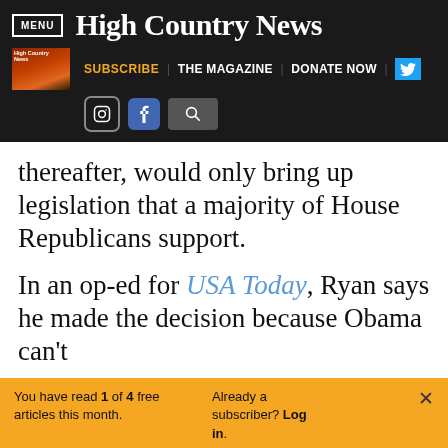High Country News — MENU | SUBSCRIBE | THE MAGAZINE | DONATE NOW
thereafter, would only bring up legislation that a majority of House Republicans support.
In an op-ed for USA Today, Ryan says he made the decision because Obama can't
You have read 1 of 4 free articles this month. Already a subscriber? Log in.
Support independent journalism. Subscribe